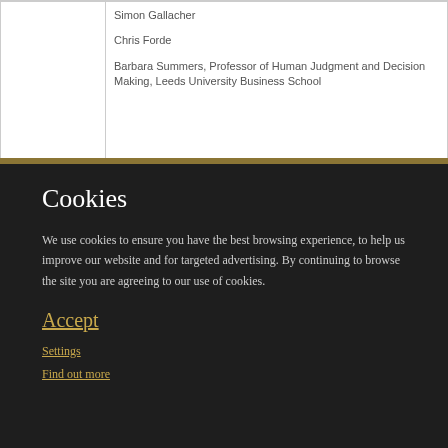|  | Simon Gallacher

Chris Forde

Barbara Summers, Professor of Human Judgment and Decision Making, Leeds University Business School |
Cookies
We use cookies to ensure you have the best browsing experience, to help us improve our website and for targeted advertising. By continuing to browse the site you are agreeing to our use of cookies.
Accept
Settings
Find out more